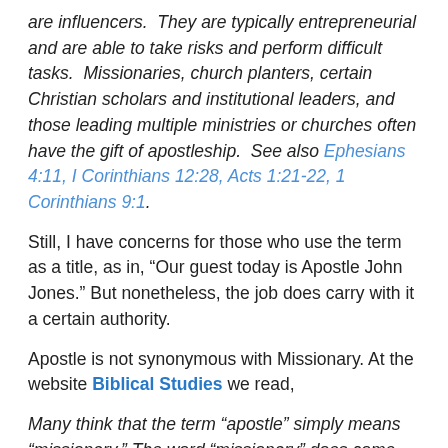are influencers.  They are typically entrepreneurial and are able to take risks and perform difficult tasks.  Missionaries, church planters, certain Christian scholars and institutional leaders, and those leading multiple ministries or churches often have the gift of apostleship.  See also Ephesians 4:11, I Corinthians 12:28, Acts 1:21-22, 1 Corinthians 9:1.
Still, I have concerns for those who use the term as a title, as in, “Our guest today is Apostle John Jones.” But nonetheless, the job does carry with it a certain authority.
Apostle is not synonymous with Missionary. At the website Biblical Studies we read,
Many think that the term “apostle” simply means “missionary.” The word “missionary” does come from a Latin root which means “to send,” so the inference is